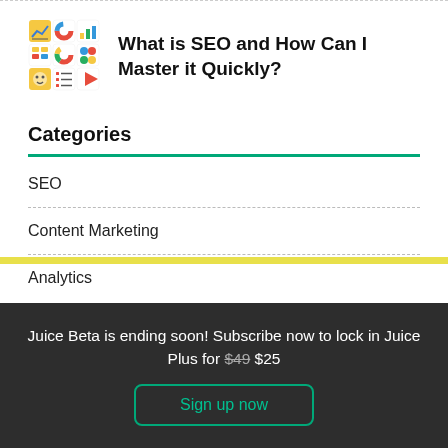[Figure (logo): Colorful 3x3 grid of icons including charts, analytics, and data visualization symbols]
What is SEO and How Can I Master it Quickly?
Categories
SEO
Content Marketing
Analytics
Juice Beta is ending soon! Subscribe now to lock in Juice Plus for $49 $25
Sign up now